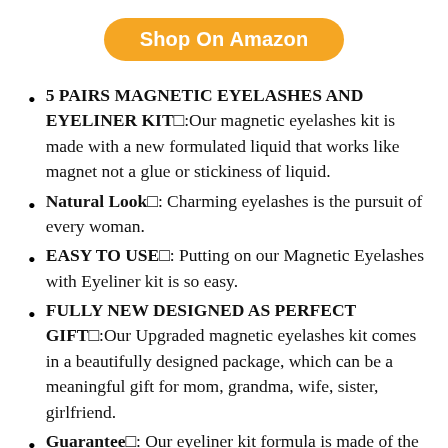[Figure (other): Orange rounded button labeled 'Shop On Amazon']
5 PAIRS MAGNETIC EYELASHES AND EYELINER KIT□:Our magnetic eyelashes kit is made with a new formulated liquid that works like magnet not a glue or stickiness of liquid.
Natural Look□: Charming eyelashes is the pursuit of every woman.
EASY TO USE□: Putting on our Magnetic Eyelashes with Eyeliner kit is so easy.
FULLY NEW DESIGNED AS PERFECT GIFT□:Our Upgraded magnetic eyelashes kit comes in a beautifully designed package, which can be a meaningful gift for mom, grandma, wife, sister, girlfriend.
Guarantee□: Our eyeliner kit formula is made of the highest quality ingredients that are